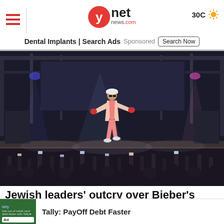ynet news.com | 30C
Dental Implants | Search Ads Sponsored Search Now
[Figure (photo): Concert performer on stage wearing pink outfit and white cap, arms outstretched, crowd with phones raised in foreground]
Jewish leaders' outcry over Bieber's 'Nazi salute' does more harm than good
Tally: PayOff Debt Faster